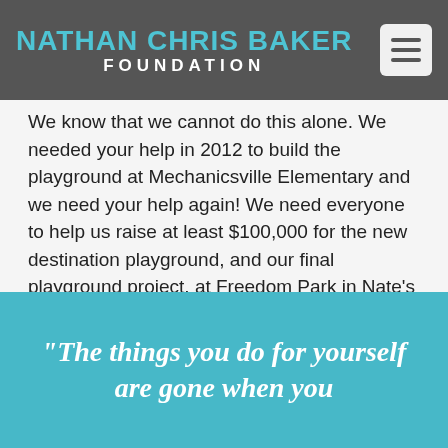NATHAN CHRIS BAKER FOUNDATION
We know that we cannot do this alone. We needed your help in 2012 to build the playground at Mechanicsville Elementary and we need your help again! We need everyone to help us raise at least $100,000 for the new destination playground, and our final playground project, at Freedom Park in Nate's memory!
With Love,
Justin and Katie Baker
"The things you do for yourself are gone when you